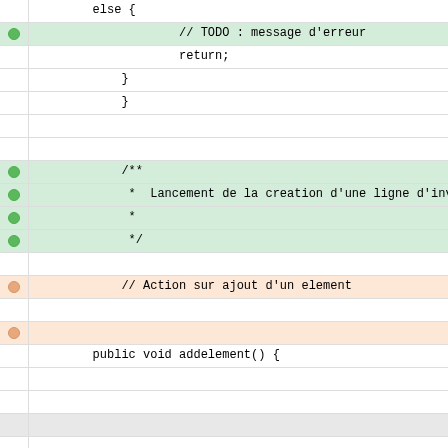[Figure (screenshot): Code diff viewer showing Java/JSF source code with colored rows indicating added (green) and removed/changed (orange) lines. Lines shown include: else { block, // TODO : message d'erreur, return;, closing braces, Javadoc comment block for 'Lancement de la creation d une ligne d inv', // Action sur ajout d'un element, public void addelement() {, setStatusDisabled();, // On met a jour rapid]